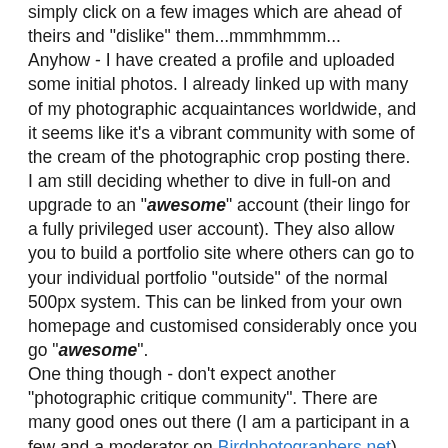simply click on a few images which are ahead of theirs and "dislike" them...mmmhmmm...
Anyhow - I have created a profile and uploaded some initial photos. I already linked up with many of my photographic acquaintances worldwide, and it seems like it's a vibrant community with some of the cream of the photographic crop posting there. I am still deciding whether to dive in full-on and upgrade to an "awesome" account (their lingo for a fully privileged user account). They also allow you to build a portfolio site where others can go to your individual portfolio "outside" of the normal 500px system. This can be linked from your own homepage and customised considerably once you go "awesome".
One thing though - don't expect another "photographic critique community". There are many good ones out there (I am a participant in a few and a moderator on Birdphotographers.net) where you can get insightful, invaluable and sometimes harsh critique on your images.